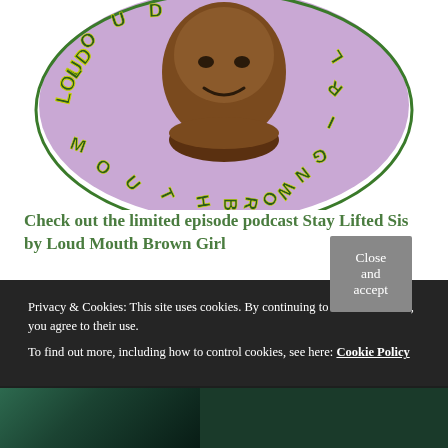[Figure (illustration): Circular podcast logo for 'Loud Mouth Brown Girl' featuring a stylized cartoon face with brown skin on a purple/lavender background, with green and yellow bubble letters spelling out 'LOUD MOUTH BROWN GIRL' around the circle.]
Check out the limited episode podcast Stay Lifted Sis by Loud Mouth Brown Girl
Privacy & Cookies: This site uses cookies. By continuing to use this website, you agree to their use.
To find out more, including how to control cookies, see here: Cookie Policy
Close and accept
[Figure (photo): Partial view of a colorful image at the bottom of the page, appears to show figures with teal/green tones.]